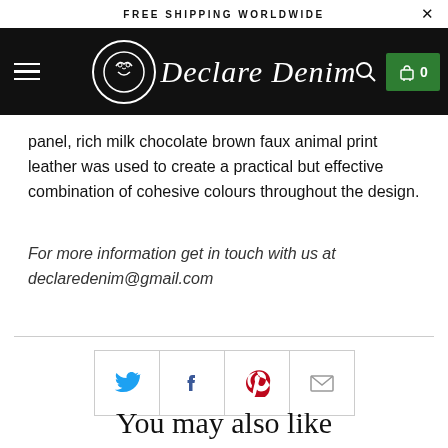FREE SHIPPING WORLDWIDE
[Figure (logo): Declare Denim brand logo with navigation bar on black background, hamburger menu, circular logo mark, brand name in script font, search icon, and green cart button showing 0]
panel, rich milk chocolate brown faux animal print leather was used to create a practical but effective combination of cohesive colours throughout the design.
For more information get in touch with us at declaredenim@gmail.com
[Figure (infographic): Social sharing buttons: Twitter (blue bird icon), Facebook (blue f icon), Pinterest (red P icon), Email (envelope icon)]
You may also like